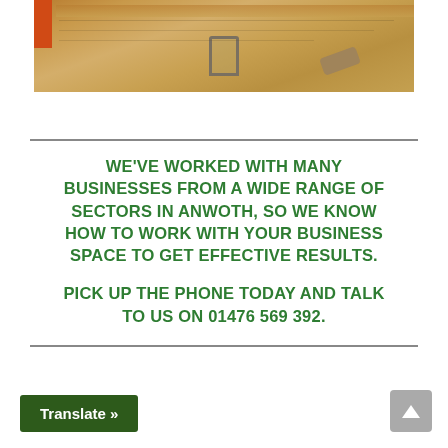[Figure (photo): Photograph of a concrete or sandy floor surface with a pipe or cylinder object and a tool (trowel or scraper), with an orange bar on the left edge. Construction/flooring site image.]
WE'VE WORKED WITH MANY BUSINESSES FROM A WIDE RANGE OF SECTORS IN ANWOTH, SO WE KNOW HOW TO WORK WITH YOUR BUSINESS SPACE TO GET EFFECTIVE RESULTS.

PICK UP THE PHONE TODAY AND TALK TO US ON 01476 569 392.
Translate »